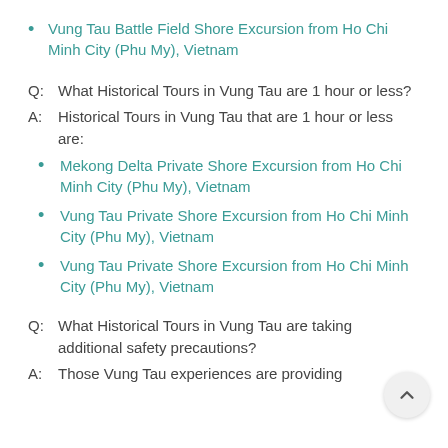Vung Tau Battle Field Shore Excursion from Ho Chi Minh City (Phu My), Vietnam
Q:  What Historical Tours in Vung Tau are 1 hour or less?
A:  Historical Tours in Vung Tau that are 1 hour or less are:
Mekong Delta Private Shore Excursion from Ho Chi Minh City (Phu My), Vietnam
Vung Tau Private Shore Excursion from Ho Chi Minh City (Phu My), Vietnam
Vung Tau Private Shore Excursion from Ho Chi Minh City (Phu My), Vietnam
Q:  What Historical Tours in Vung Tau are taking additional safety precautions?
A:  Those Vung Tau experiences are providing